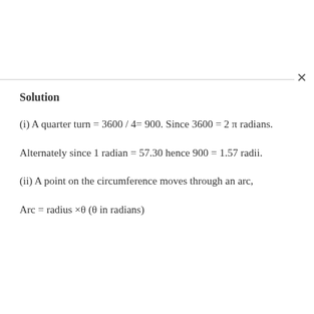Solution
(i) A quarter turn = 3600 / 4= 900. Since 3600 = 2 π radians.
Alternately since 1 radian = 57.30 hence 900 = 1.57 radii.
(ii) A point on the circumference moves through an arc,